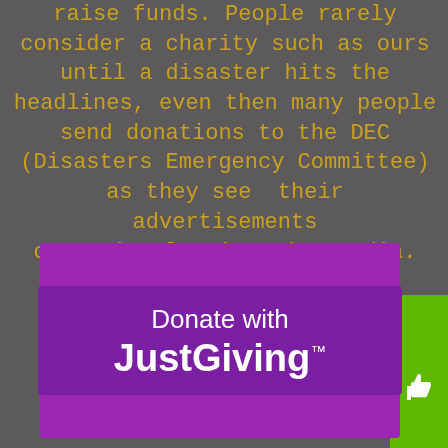raise funds. People rarely consider a charity such as ours until a disaster hits the headlines, even then many people send donations to the DEC (Disasters Emergency Committee) as they see  their advertisements on national prime time media.
[Figure (logo): JustGiving donation button — purple rectangle with 'Donate with JustGiving' text in white on a bright purple background]